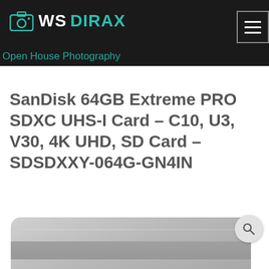WS DIRAX
Open House Photography
SanDisk 64GB Extreme PRO SDXC UHS-I Card – C10, U3, V30, 4K UHD, SD Card – SDSDXXY-064G-GN4IN
[Figure (photo): Partial view of a SanDisk SD card with a search/zoom icon overlay]